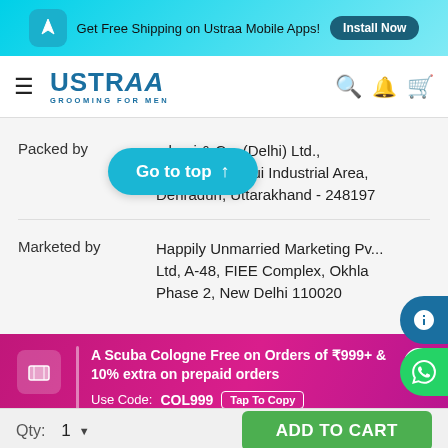Get Free Shipping on Ustraa Mobile Apps! Install Now
[Figure (logo): Ustraa Grooming For Men logo with navigation hamburger menu, search, notification, and cart icons]
| Field | Value |
| --- | --- |
| Packed by | ...hani & Co. (Delhi) Ltd., ...a City, Selaqui Industrial Area, Dehradun, Uttarakhand - 248197 |
| Marketed by | Happily Unmarried Marketing Pvt Ltd, A-48, FIEE Complex, Okhla Phase 2, New Delhi 110020 |
A Scuba Cologne Free on Orders of ₹999+ & 10% extra on prepaid orders Use Code: COL999 Tap To Copy
Qty: 1 ▼  ADD TO CART